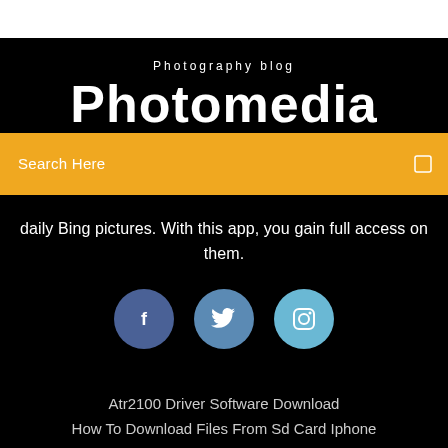Photography blog
Photomedia
Search Here
daily Bing pictures. With this app, you gain full access on them.
[Figure (illustration): Three social media icon circles: Facebook (dark blue), Twitter (medium blue), Instagram (light blue)]
Atr2100 Driver Software Download
How To Download Files From Sd Card Iphone
Download Stephen Micus Desert Poems Torrents